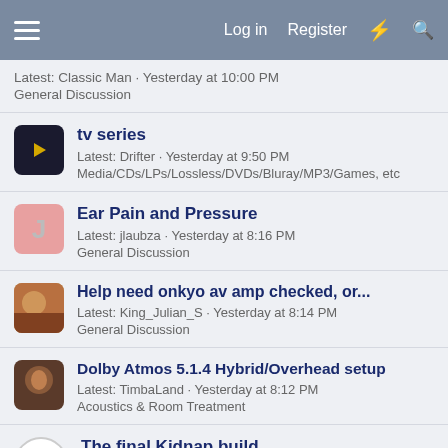Log in  Register
Latest: Classic Man · Yesterday at 10:00 PM
General Discussion
tv series
Latest: Drifter · Yesterday at 9:50 PM
Media/CDs/LPs/Lossless/DVDs/Bluray/MP3/Games, etc
Ear Pain and Pressure
Latest: jlaubza · Yesterday at 8:16 PM
General Discussion
Help need onkyo av amp checked, or...
Latest: King_Julian_S · Yesterday at 8:14 PM
General Discussion
Dolby Atmos 5.1.4 Hybrid/Overhead setup
Latest: TimbaLand · Yesterday at 8:12 PM
Acoustics & Room Treatment
The final Kidnap build.
Latest: Crafty · Yesterday at 6:20 PM
DIY For Audio